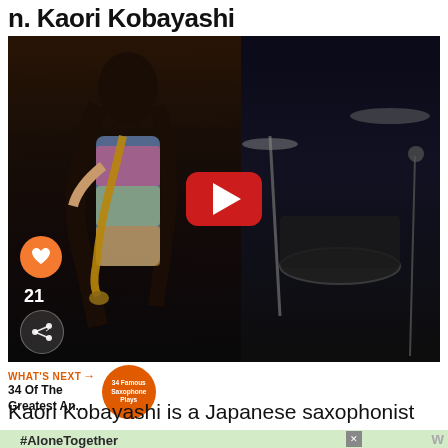n. Kaori Kobayashi
[Figure (screenshot): YouTube video thumbnail showing a woman playing saxophone on a dark stage, with drum kit in background. YouTube play button overlay in center. Like (heart) button and count '21' and share button on left side.]
WHAT'S NEXT → 34 Of The Greatest An...
Kaori Kobayashi is a Japanese saxophonist
[Figure (screenshot): Advertisement banner with #AloneTogether hashtag on green background, photo of people on right, close button X, and watermark W logo]